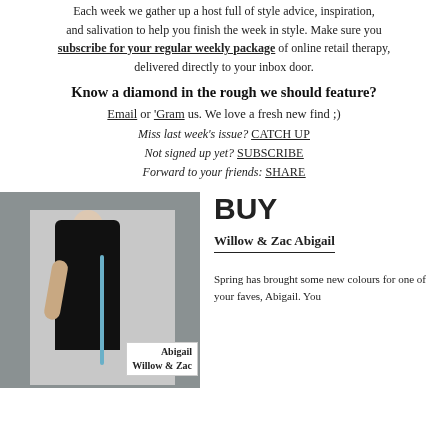Each week we gather up a host full of style advice, inspiration, and salivation to help you finish the week in style. Make sure you subscribe for your regular weekly package of online retail therapy, delivered directly to your inbox door.
Know a diamond in the rough we should feature?
Email or 'Gram us. We love a fresh new find ;)
Miss last week's issue? CATCH UP
Not signed up yet? SUBSCRIBE
Forward to your friends: SHARE
[Figure (photo): Fashion photo of a person in black clothing holding a blue bag, with overlay label reading 'Abigail Willow & Zac']
BUY
Willow & Zac Abigail
Spring has brought some new colours for one of your faves, Abigail. You